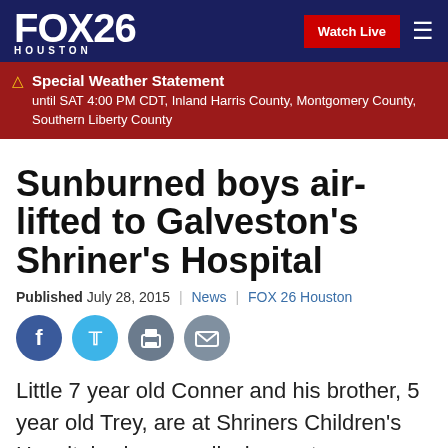FOX 26 HOUSTON | Watch Live
Special Weather Statement
until SAT 4:00 PM CDT, Inland Harris County, Montgomery County, Southern Liberty County
Sunburned boys air-lifted to Galveston's Shriner's Hospital
Published July 28, 2015 | News | FOX 26 Houston
[Figure (other): Social sharing icons: Facebook, Twitter, Print, Email]
Little 7 year old Conner and his brother, 5 year old Trey, are at Shriners Children's Hospital, where medical experts are treating their second and third-degree sunburns.